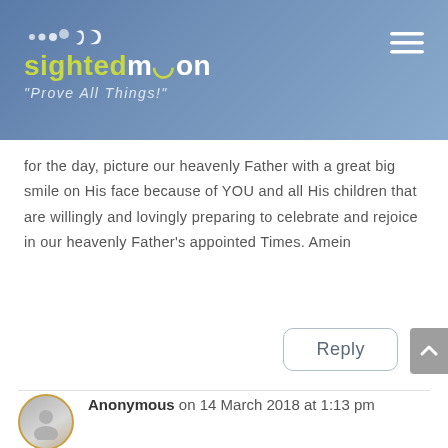[Figure (logo): Sighted Moon website logo with moon phase dots, yellow-green and white text, tagline 'Prove All Things!', on a blue-grey gradient header background]
for the day, picture our heavenly Father with a great big smile on His face because of YOU and all His children that are willingly and lovingly preparing to celebrate and rejoice in our heavenly Father's appointed Times. Amein
Reply
Anonymous on 14 March 2018 at 1:13 pm
Thanks so much!
Reply